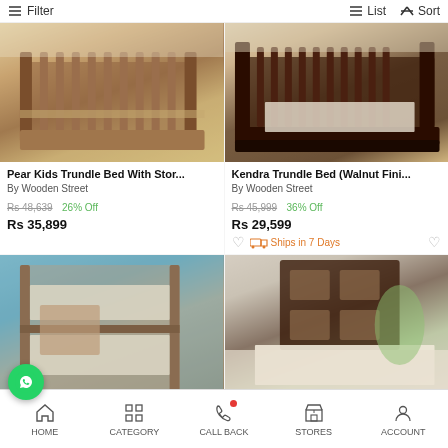Filter | List | Sort
[Figure (photo): Pear Kids Trundle Bed with storage in honey/walnut wood finish in a styled bedroom]
Pear Kids Trundle Bed With Stor...
By Wooden Street
Rs 48,639  26% Off
Rs 35,899
[Figure (photo): Kendra Trundle Bed in Walnut Finish in a styled bedroom]
Kendra Trundle Bed (Walnut Fini...
By Wooden Street
Rs 45,999  36% Off
Rs 29,599
Ships in 7 Days
[Figure (photo): Bunk bed for kids with blue wall background]
[Figure (photo): Single bed with storage headboard in dark walnut finish]
HOME  CATEGORY  CALL BACK  STORES  ACCOUNT